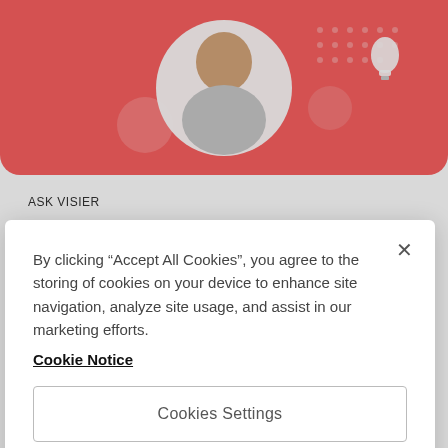[Figure (photo): Hero banner with coral/red background showing a man smiling with a circular white frame, decorative elements including a light bulb icon and pink circle]
ASK VISIER
Ask Visier: How well does the organization's compensation
By clicking “Accept All Cookies”, you agree to the storing of cookies on your device to enhance site navigation, analyze site usage, and assist in our marketing efforts.
Cookie Notice
Cookies Settings
Reject All
Accept All Cookies